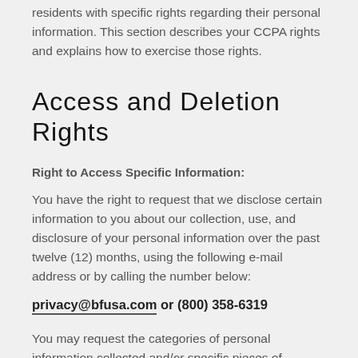residents with specific rights regarding their personal information. This section describes your CCPA rights and explains how to exercise those rights.
Access and Deletion Rights
Right to Access Specific Information:
You have the right to request that we disclose certain information to you about our collection, use, and disclosure of your personal information over the past twelve (12) months, using the following e-mail address or by calling the number below:
privacy@bfusa.com or (800) 358-6319
You may request the categories of personal information collected and/or specific pieces of personal information